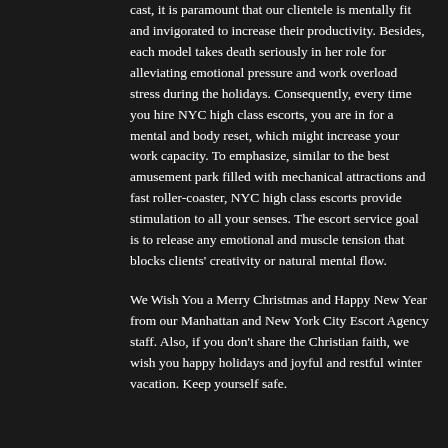cast, it is paramount that our clientele is mentally fit and invigorated to increase their productivity. Besides, each model takes death seriously in her role for alleviating emotional pressure and work overload stress during the holidays. Consequently, every time you hire NYC high class escorts, you are in for a mental and body reset, which might increase your work capacity. To emphasize, similar to the best amusement park filled with mechanical attractions and fast roller-coaster, NYC high class escorts provide stimulation to all your senses. The escort service goal is to release any emotional and muscle tension that blocks clients' creativity or natural mental flow.
We Wish You a Merry Christmas and Happy New Year from our Manhattan and New York City Escort Agency staff. Also, if you don't share the Christian faith, we wish you happy holidays and joyful and restful winter vacation. Keep yourself safe.